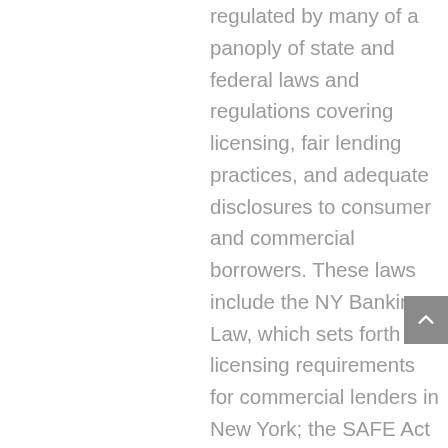regulated by many of a panoply of state and federal laws and regulations covering licensing, fair lending practices, and adequate disclosures to consumer and commercial borrowers. These laws include the NY Banking Law, which sets forth licensing requirements for commercial lenders in New York; the SAFE Act (which mandates a nationwide licensing and registration system for residential mortgage